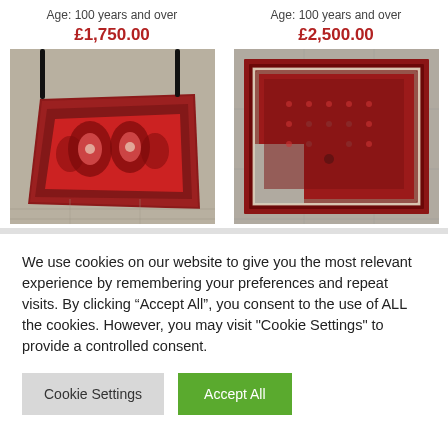Age: 100 years and over
£1,750.00
Age: 100 years and over
£2,500.00
[Figure (photo): Antique red patterned rug displayed on tiled floor with black metal stand legs visible]
[Figure (photo): Antique red/dark patterned rug laid flat on tiled floor, viewed from above]
We use cookies on our website to give you the most relevant experience by remembering your preferences and repeat visits. By clicking “Accept All”, you consent to the use of ALL the cookies. However, you may visit "Cookie Settings" to provide a controlled consent.
Cookie Settings
Accept All